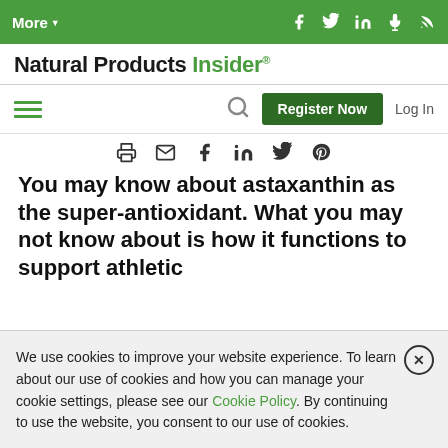More▾
Natural Products Insider®
Register Now  Log In
You may know about astaxanthin as the super-antioxidant. What you may not know about is how it functions to support athletic
We use cookies to improve your website experience. To learn about our use of cookies and how you can manage your cookie settings, please see our Cookie Policy. By continuing to use the website, you consent to our use of cookies.